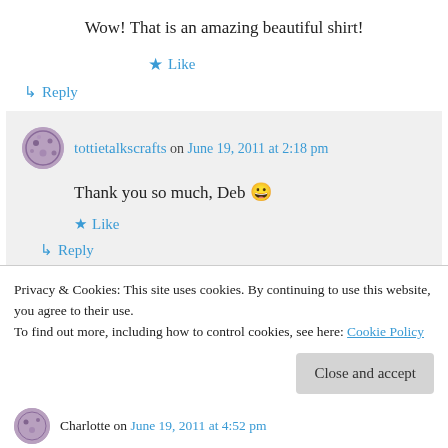Wow! That is an amazing beautiful shirt!
★ Like
↳ Reply
tottietalkscrafts on June 19, 2011 at 2:18 pm
Thank you so much, Deb 😀
★ Like
↳ Reply
Privacy & Cookies: This site uses cookies. By continuing to use this website, you agree to their use.
To find out more, including how to control cookies, see here: Cookie Policy
Close and accept
Charlotte on June 19, 2011 at 4:52 pm